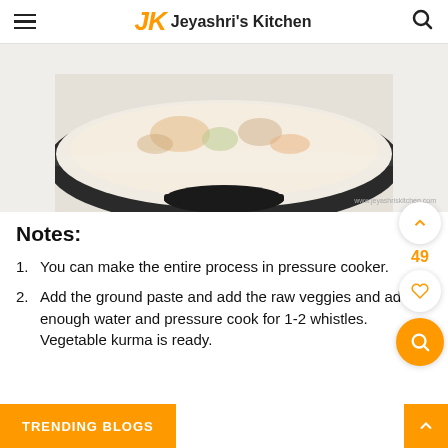Jeyashri's Kitchen
[Figure (photo): Top-down view of a bowl of vegetable kurma curry with vegetables visible, on a white background, with watermark www.jeyashriskitchen.com]
Notes:
You can make the entire process in pressure cooker.
Add the ground paste and add the raw veggies and add enough water and pressure cook for 1-2 whistles. Vegetable kurma is ready.
TRENDING BLOGS